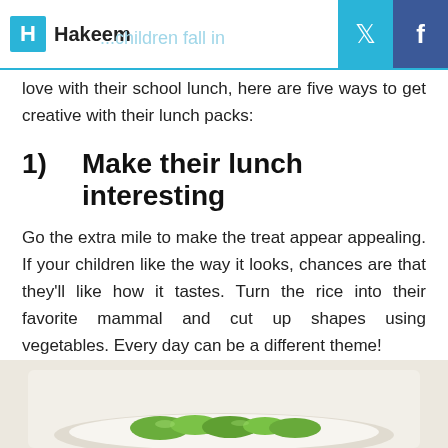Hakeem
love with their school lunch, here are five ways to get creative with their lunch packs:
1)   Make their lunch interesting
Go the extra mile to make the treat appear appealing. If your children like the way it looks, chances are that they'll like how it tastes. Turn the rice into their favorite mammal and cut up shapes using vegetables. Every day can be a different theme!
[Figure (photo): Photo of a lunch plate with salad/vegetables, partially visible at bottom of page]